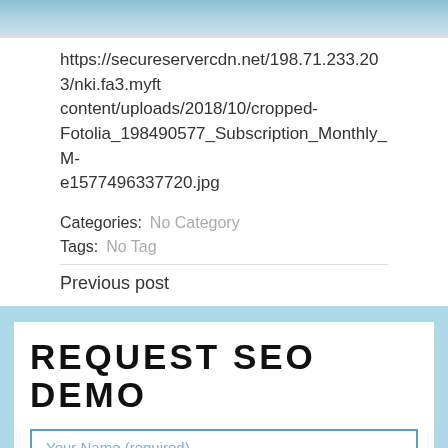[Figure (photo): Partial view of a cropped photo at the top of the page, showing a light blue/teal background suggesting a medical or office scene.]
https://secureservercdn.net/198.71.233.203/nki.fa3.myftcontent/uploads/2018/10/cropped-Fotolia_198490577_Subscription_Monthly_M-e1577496337720.jpg
Categories:  No Category
Tags:  No Tag
Previous post
REQUEST SEO DEMO
Your Name (required)